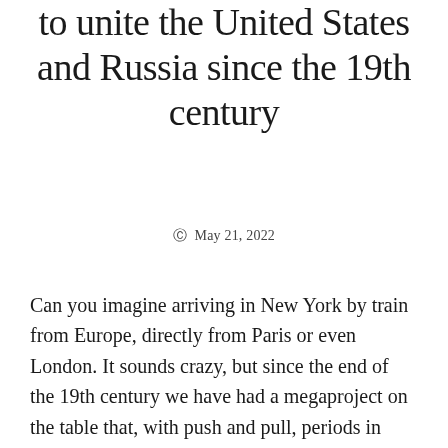to unite the United States and Russia since the 19th century
© May 21, 2022
Can you imagine arriving in New York by train from Europe, directly from Paris or even London. It sounds crazy, but since the end of the 19th century we have had a megaproject on the table that, with push and pull, periods in which it seems to gain strength followed by